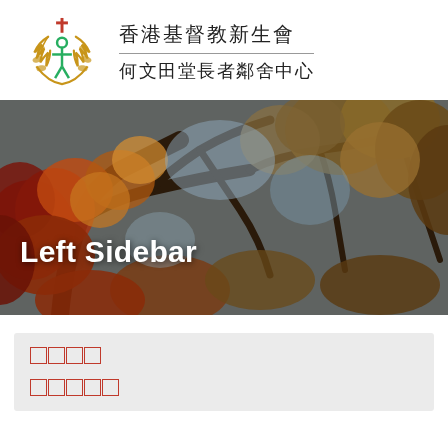[Figure (logo): Organization logo: golden laurel wreath with a green person figure and red cross, beside Chinese text organization name]
香港基督教新生會
何文田堂長者鄰舍中心
[Figure (photo): Autumn tree canopy banner image with red and orange leaves against a sky background, with white bold text 'Left Sidebar' overlaid]
Left Sidebar
□□□□
□□□□□